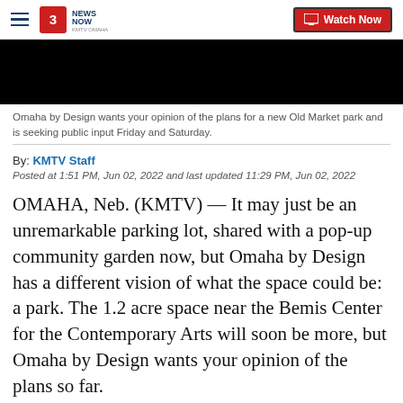3 NEWS NOW KMTV OMAHA — Watch Now
[Figure (screenshot): Black video player placeholder rectangle]
Omaha by Design wants your opinion of the plans for a new Old Market park and is seeking public input Friday and Saturday.
By: KMTV Staff
Posted at 1:51 PM, Jun 02, 2022 and last updated 11:29 PM, Jun 02, 2022
OMAHA, Neb. (KMTV) — It may just be an unremarkable parking lot, shared with a pop-up community garden now, but Omaha by Design has a different vision of what the space could be: a park. The 1.2 acre space near the Bemis Center for the Contemporary Arts will soon be more, but Omaha by Design wants your opinion of the plans so far.